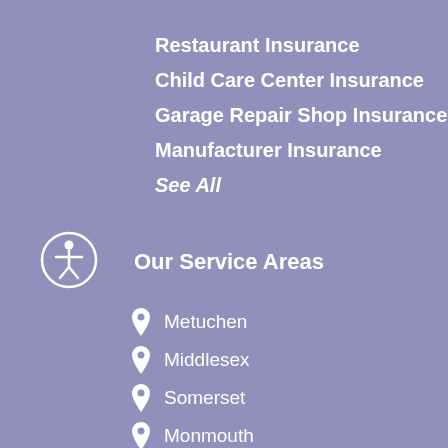Restaurant Insurance
Child Care Center Insurance
Garage Repair Shop Insurance
Manufacturer Insurance
See All
Our Service Areas
Metuchen
Middlesex
Somerset
Monmouth
Union
Hunterdon